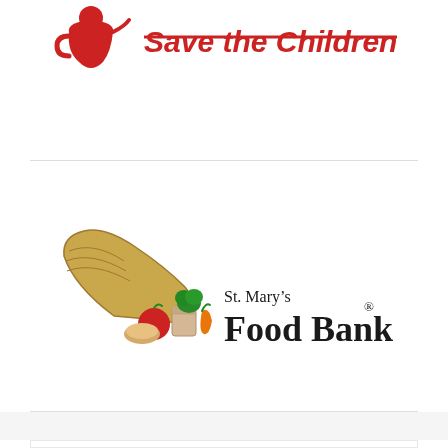[Figure (logo): Save the Children logo — partial view showing red figure icon and red italic strikethrough text]
[Figure (logo): St. Mary's Food Bank logo — cornucopia with food items and serif text reading St. Mary's Food Bank with registered trademark symbol]
The matching gift lookup tool is